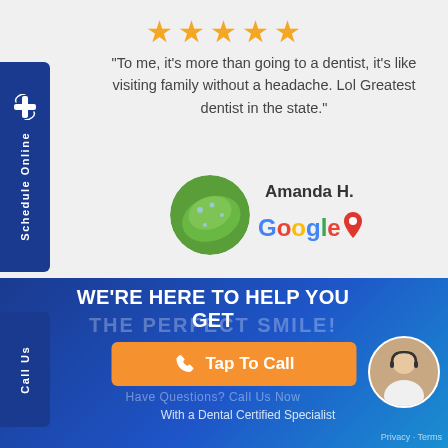[Figure (other): Five orange star rating icons]
"To me, it's more than going to a dentist, it's like visiting family without a headache. Lol Greatest dentist in the state."
[Figure (photo): Circular avatar image of green leaf with water droplets - reviewer photo for Amanda H.]
Amanda H.
[Figure (logo): Google Maps logo]
[Figure (infographic): Side tab with cross icon and Schedule Online text vertically on blue background]
[Figure (infographic): Side tab with Call Us text vertically on blue background]
WE'RE HERE TO HELP YOU GET THE PERFECT SMILE!
Have Questions? Call Us Now
[Figure (other): Orange Tap To Call button with phone icon]
With a Dental Certified Specialist
[Figure (photo): Circular photo of a woman with headset in bottom right corner]
Privacy · Terms